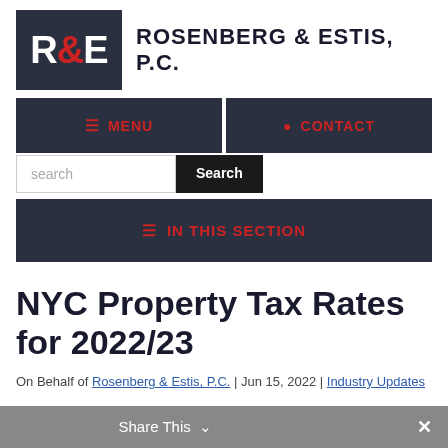[Figure (logo): Rosenberg & Estis P.C. logo with dark blue box containing R&E initials and firm name text]
MENU | CONTACT | search Search | IN THIS SECTION
NYC Property Tax Rates for 2022/23
On Behalf of Rosenberg & Estis, P.C. | Jun 15, 2022 | Industry Updates
Share This ×